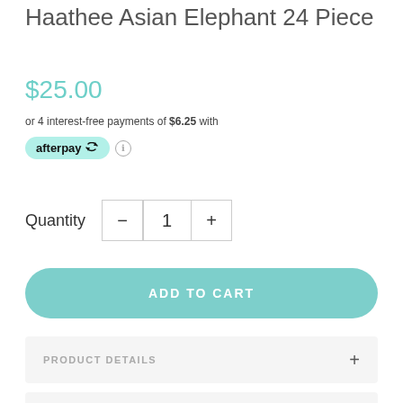Haathee Asian Elephant 24 Piece
$25.00
or 4 interest-free payments of $6.25 with
[Figure (logo): Afterpay badge logo with circular arrows]
Quantity  1
ADD TO CART
PRODUCT DETAILS
SHIPPING DETAILS